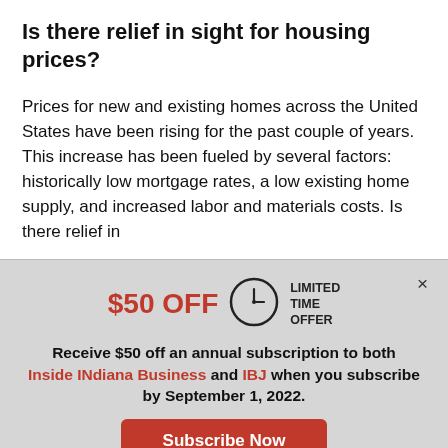Is there relief in sight for housing prices?
Prices for new and existing homes across the United States have been rising for the past couple of years. This increase has been fueled by several factors: historically low mortgage rates, a low existing home supply, and increased labor and materials costs. Is there relief in
$50 OFF  LIMITED TIME OFFER
Receive $50 off an annual subscription to both Inside INdiana Business and IBJ when you subscribe by September 1, 2022.
Subscribe Now
Already a paid subscriber?
Log In